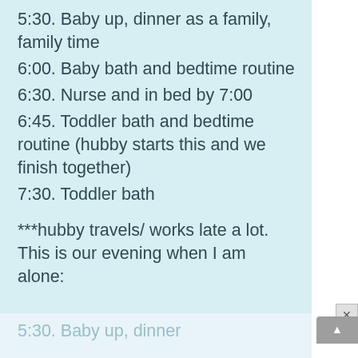5:30. Baby up, dinner as a family, family time
6:00. Baby bath and bedtime routine
6:30. Nurse and in bed by 7:00
6:45. Toddler bath and bedtime routine (hubby starts this and we finish together)
7:30. Toddler bath
***hubby travels/ works late a lot. This is our evening when I am alone:
5:30. Baby up, dinner